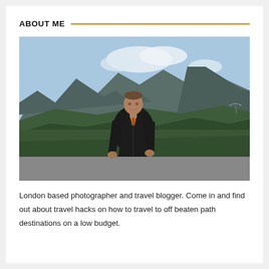ABOUT ME
[Figure (photo): A man in a black jacket standing outdoors with dramatic mountain peaks and lush green forested hillsides in the background under a blue sky with some clouds.]
London based photographer and travel blogger. Come in and find out about travel hacks on how to travel to off beaten path destinations on a low budget.